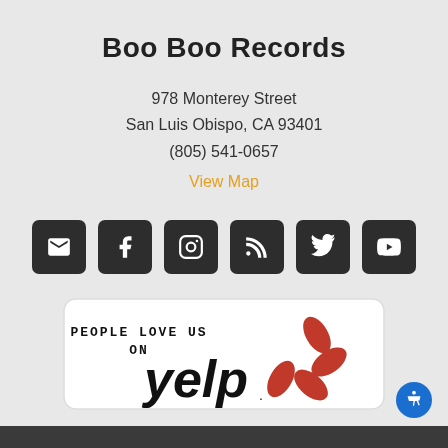Boo Boo Records
978 Monterey Street
San Luis Obispo, CA 93401
(805) 541-0657
View Map
[Figure (infographic): Six social media icon buttons (email, Facebook, Instagram, RSS, Twitter, YouTube) displayed as dark rounded square icons with white symbols]
[Figure (logo): Yelp badge with 'PEOPLE LOVE US ON' text and the Yelp logo with red burst graphic]